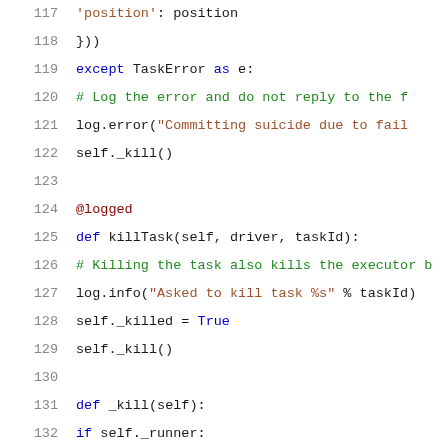[Figure (screenshot): Python source code lines 117-137 with syntax highlighting. Shows code for killTask and _kill methods with line numbers, using blue keywords, green comments, brown strings, and red decorators.]